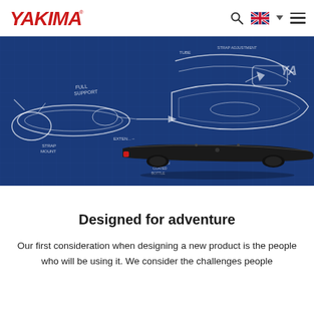YAKIMA
[Figure (photo): Blueprint-style technical sketch on dark blue background showing design drawings of a roof rack/crossbar system with annotations, overlaid with a product photo of a black ski/snowboard carrier rack]
Designed for adventure
Our first consideration when designing a new product is the people who will be using it. We consider the challenges people